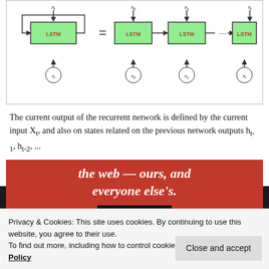[Figure (schematic): LSTM unrolling diagram showing a single LSTM block with recurrent arrow equals sign and then unrolled sequence of LSTM blocks with x0, x1, ..., xt inputs and h0, h1, ..., ht outputs]
The current output of the recurrent network is defined by the current input X_t, and also on states related on the previous network outputs h_{t-1}, h_{t-2}, ...
[Figure (screenshot): Red advertisement banner with italic white text 'the web — ours, and everyone else's.' and a 'Start reading' button]
Privacy & Cookies: This site uses cookies. By continuing to use this website, you agree to their use. To find out more, including how to control cookies, see here: Cookie Policy